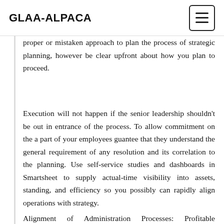GLAA-ALPACA
proper or mistaken approach to plan the process of strategic planning, however be clear upfront about how you plan to proceed.
Execution will not happen if the senior leadership shouldn't be out in entrance of the process. To allow commitment on the a part of your employees guantee that they understand the general requirement of any resolution and its correlation to the planning. Use self-service studies and dashboards in Smartsheet to supply actual-time visibility into assets, standing, and efficiency so you possibly can rapidly align operations with strategy.
Alignment of Administration Processes: Profitable implementation of a regulation agency's technique